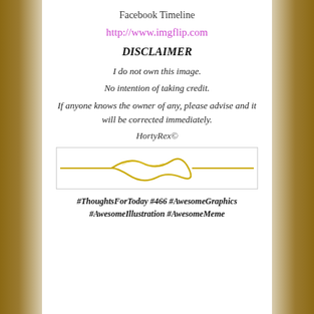Facebook Timeline
http://www.imgflip.com
DISCLAIMER
I do not own this image.
No intention of taking credit.
If anyone knows the owner of any, please advise and it will be corrected immediately.
HortyRex©
[Figure (illustration): Decorative golden wavy ornamental divider line]
#ThoughtsForToday #466 #AwesomeGraphics #AwesomeIllustration #AwesomeMeme